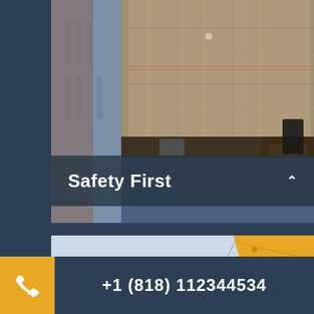[Figure (photo): Close-up photo of a construction worker in a plaid shirt with gloves and tool belt, blurred building in background]
Safety First
[Figure (photo): Yellow construction crane against a blue sky with light clouds, small load or object visible hanging from crane cable]
+1 (818) 112344534